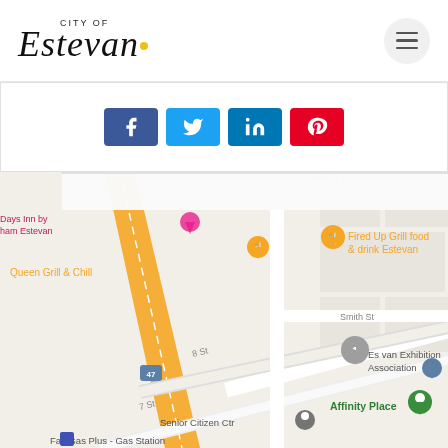City of Estevan
[Figure (screenshot): Social media share buttons: Facebook (blue), Twitter (light blue), LinkedIn (dark blue), Pinterest (red)]
[Figure (map): Google Maps screenshot showing streets of Estevan including Yardley Pl, Smith St, 8 St, 7 St. Landmarks include Days Inn by Wyndham Estevan, Queen Grill & Chill, Fired Up Grill food & drink Estevan, Estevan Exhibition Association, Affinity Place, Senior Citizen Ctr, Fas Gas Plus - Gas Station. Highway 47 shown as orange road.]